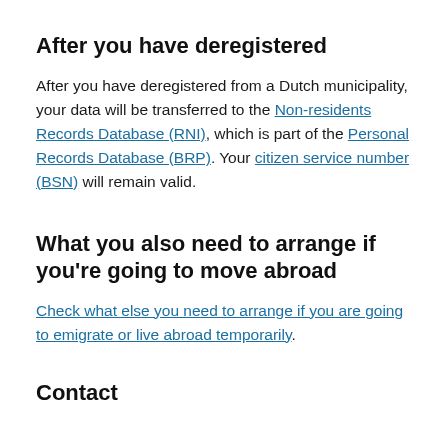After you have deregistered
After you have deregistered from a Dutch municipality, your data will be transferred to the Non-residents Records Database (RNI), which is part of the Personal Records Database (BRP). Your citizen service number (BSN) will remain valid.
What you also need to arrange if you're going to move abroad
Check what else you need to arrange if you are going to emigrate or live abroad temporarily.
Contact